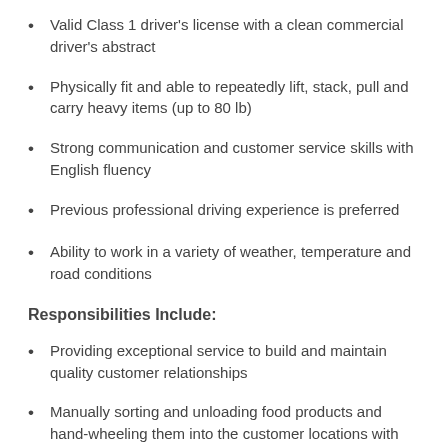Valid Class 1 driver's license with a clean commercial driver's abstract
Physically fit and able to repeatedly lift, stack, pull and carry heavy items (up to 80 lb)
Strong communication and customer service skills with English fluency
Previous professional driving experience is preferred
Ability to work in a variety of weather, temperature and road conditions
Responsibilities Include:
Providing exceptional service to build and maintain quality customer relationships
Manually sorting and unloading food products and hand-wheeling them into the customer locations with